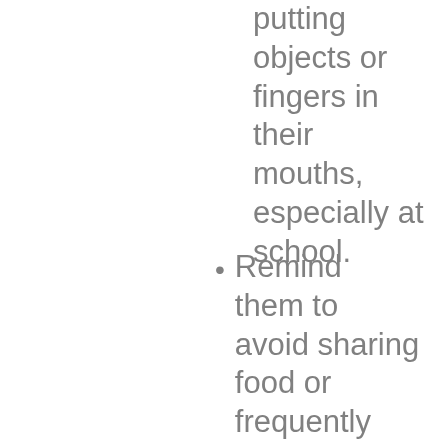putting objects or fingers in their mouths, especially at school.
Remind them to avoid sharing food or frequently touched objects such